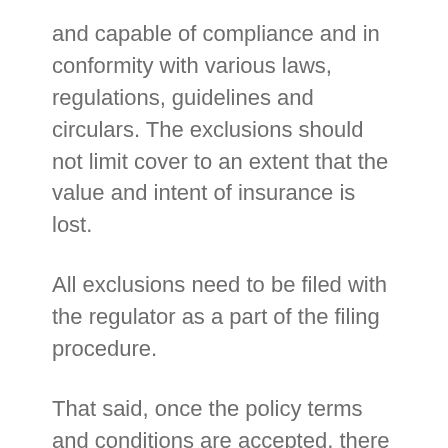and capable of compliance and in conformity with various laws, regulations, guidelines and circulars. The exclusions should not limit cover to an extent that the value and intent of insurance is lost.
All exclusions need to be filed with the regulator as a part of the filing procedure.
That said, once the policy terms and conditions are accepted, there is not much one can do in commercial contracts hoping for kind interpretation. While delivering judgment in Bajaj Allianz General Insurance Co Ltd & Another Versus The State of Madhya Pradesh, Hon'ble